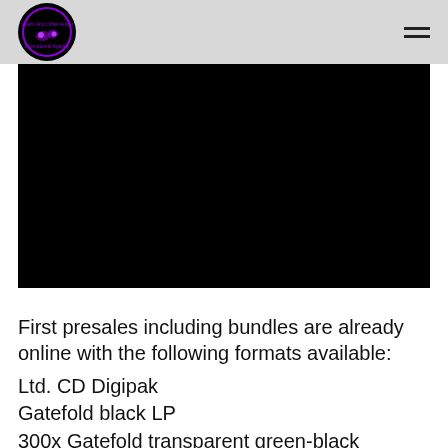Rockers And Other Animals Promotional Agency
[Figure (photo): Black rectangle representing a video or image placeholder]
First presales including bundles are already online with the following formats available:
Ltd. CD Digipak
Gatefold black LP
300x Gatefold transparent green-black marbled LP available from Trust No One Recordings, Impericon and the band